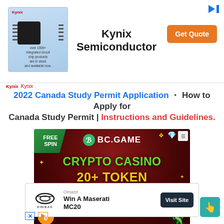[Figure (screenshot): Kynix Semiconductor advertisement banner with chip image, company name, and Get Quote button]
Kynix  Kynix
2022 Canada Study Permit Application ・ How to Apply for Canada Study Permit | Instructions and Guidelines.
[Figure (screenshot): BC.GAME crypto casino advertisement with FREE SPIN, CRYPTO CASINO 20+ TOKEN, WIN 5 BTC]
[Figure (screenshot): Omaze advertisement: Win A Maserati MC20 with Visit Site button]